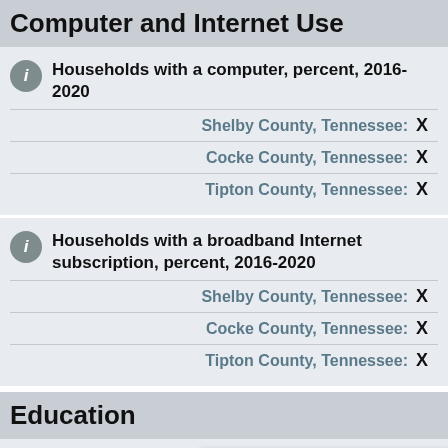Computer and Internet Use
Households with a computer, percent, 2016-2020
Shelby County, Tennessee: X
Cocke County, Tennessee: X
Tipton County, Tennessee: X
Households with a broadband Internet subscription, percent, 2016-2020
Shelby County, Tennessee: X
Cocke County, Tennessee: X
Tipton County, Tennessee: X
Education
High school graduate or higher, percent of persons age 25 years+, 2016-2020
Shelby County, Tennessee: X
Is this page helpful? Yes No